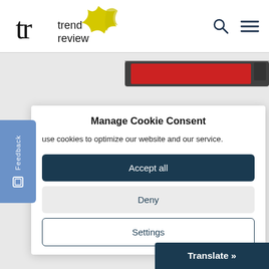[Figure (logo): Trend Review logo with stylized 'tr' letters in black, words 'trend review' in dark text, and a yellow star/butterfly shape above]
Manage Cookie Consent
use cookies to optimize our website and our service.
Accept all
Deny
Settings
Translate »